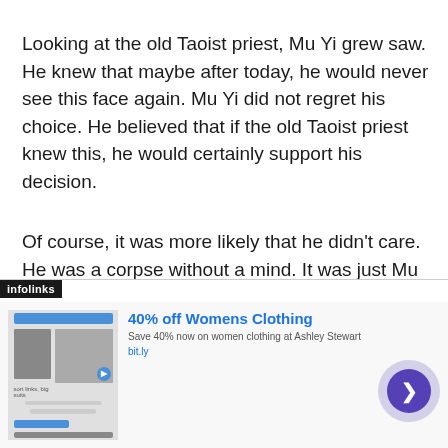Looking at the old Taoist priest, Mu Yi grew saw. He knew that maybe after today, he would never see this face again. Mu Yi did not regret his choice. He believed that if the old Taoist priest knew this, he would certainly support his decision.
Of course, it was more likely that he didn't care. He was a corpse without a mind. It was just Mu Yi who couldn't let go.
However, Mu Yi did not regret what he had done. If a person did not have obsessions and desires,
[Figure (screenshot): Infolinks advertisement overlay showing '40% off Womens Clothing' ad from Ashley Stewart with bit.ly link, close button, and navigation arrow]